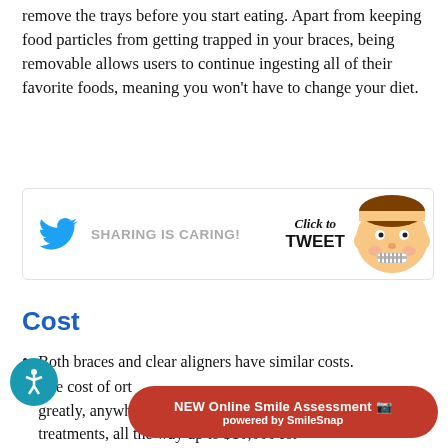remove the trays before you start eating. Apart from keeping food particles from getting trapped in your braces, being removable allows users to continue ingesting all of their favorite foods, meaning you won't have to change your diet.
[Figure (infographic): Twitter sharing banner with blue Twitter bird icon, 'SHARING IS CARING!' text, 'Click to TWEET' text in cursive/bold, and a cartoon face with braces on the right side.]
Cost
Both braces and clear aligners have similar costs.
The cost of orthodontic treatment varies greatly, anywhere from basic affordable treatments, all the way up to $10,000 for